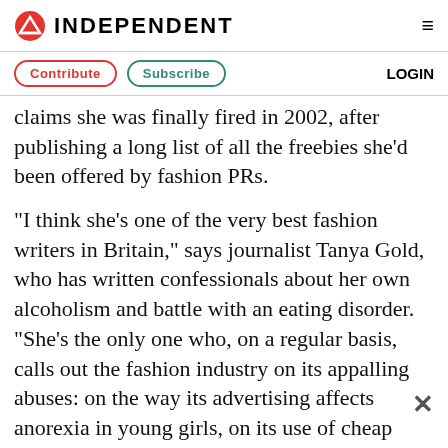INDEPENDENT
Contribute  Subscribe  LOGIN
claims she was finally fired in 2002, after publishing a long list of all the freebies she'd been offered by fashion PRs.
"I think she's one of the very best fashion writers in Britain," says journalist Tanya Gold, who has written confessionals about her own alcoholism and battle with an eating disorder. "She's the only one who, on a regular basis, calls out the fashion industry on its appalling abuses: on the way its advertising affects anorexia in young girls, on its use of cheap